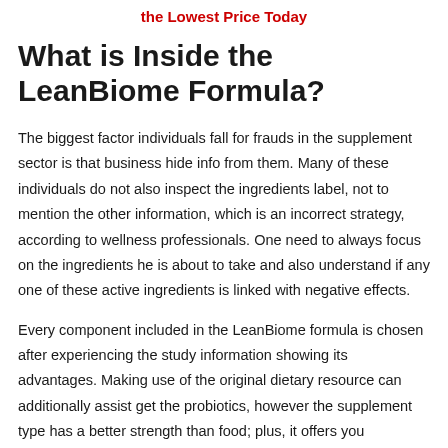the Lowest Price Today
What is Inside the LeanBiome Formula?
The biggest factor individuals fall for frauds in the supplement sector is that business hide info from them. Many of these individuals do not also inspect the ingredients label, not to mention the other information, which is an incorrect strategy, according to wellness professionals. One need to always focus on the ingredients he is about to take and also understand if any one of these active ingredients is linked with negative effects.
Every component included in the LeanBiome formula is chosen after experiencing the study information showing its advantages. Making use of the original dietary resource can additionally assist get the probiotics, however the supplement type has a better strength than food; plus, it offers you numerous stress in one little